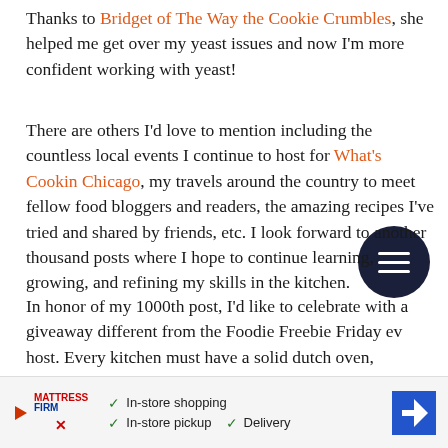Thanks to Bridget of The Way the Cookie Crumbles, she helped me get over my yeast issues and now I'm more confident working with yeast!
There are others I'd love to mention including the countless local events I continue to host for What's Cookin Chicago, my travels around the country to meet fellow food bloggers and readers, the amazing recipes I've tried and shared by friends, etc. I look forward to another thousand posts where I hope to continue learning, growing, and refining my skills in the kitchen.
In honor of my 1000th post, I'd like to celebrate with a giveaway different from the Foodie Freebie Friday event I host. Every kitchen must have a solid dutch oven, especially during the winter. One lucky reader will receive a Lodge Color Enameled Cast Iron 6-quart Dutch Oven in one of the following
[Figure (other): Dark circular floating action button with three horizontal white lines (hamburger menu icon)]
[Figure (other): Advertisement banner: Mattress Firm logo with play button, checkmarks for In-store shopping, In-store pickup, Delivery, and a blue diamond arrow icon]